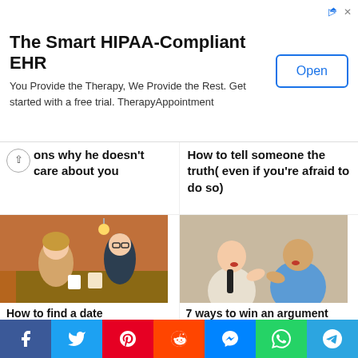[Figure (infographic): Advertisement banner for TherapyAppointment - The Smart HIPAA-Compliant EHR with Open button]
ons why he doesn't care about you
How to tell someone the truth( even if you're afraid to do so)
[Figure (photo): A man and woman sitting at a cafe table having coffee]
How to find a date
[Figure (photo): Two men in business attire arguing face to face]
7 ways to win an argument even when the truth is on the side of your opponent
[Figure (illustration): Illustration of confused figure with question mark]
[Figure (photo): Man looking thoughtful or pensive]
[Figure (infographic): Social share bar with Facebook, Twitter, Pinterest, Reddit, Messenger, WhatsApp, Telegram buttons]